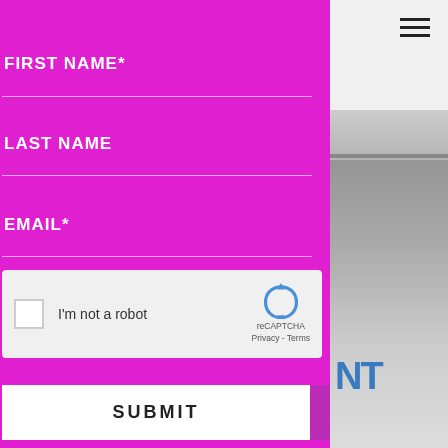FIRST NAME*
LAST NAME
EMAIL*
[Figure (screenshot): reCAPTCHA widget with checkbox, 'I'm not a robot' label, reCAPTCHA logo, and Privacy/Terms links]
SUBMIT
[Figure (photo): Partial building photo visible on right side with blue NT text]